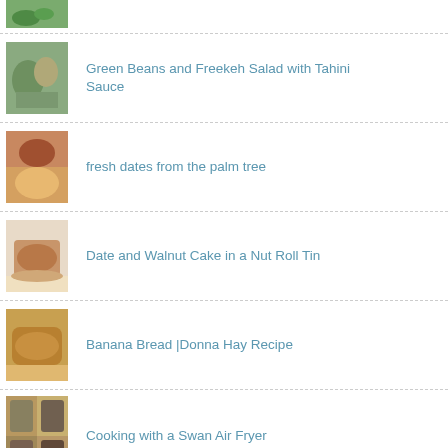(partial image, top)
Green Beans and Freekeh Salad with Tahini Sauce
fresh dates from the palm tree
Date and Walnut Cake in a Nut Roll Tin
Banana Bread |Donna Hay Recipe
Cooking with a Swan Air Fryer
Roasted Garlic in a Terra Cotta Garlic Baker
(partial, bottom)